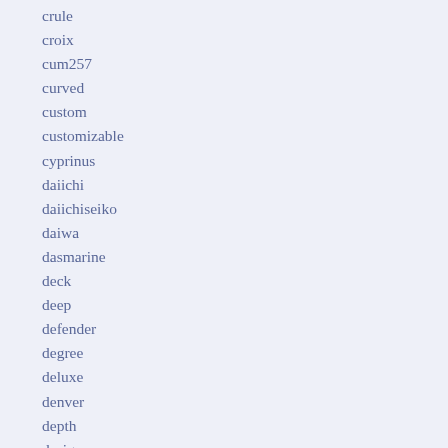crule
croix
cum257
curved
custom
customizable
cyprinus
daiichi
daiichiseiko
daiwa
dasmarine
deck
deep
defender
degree
deluxe
denver
depth
design
designed
docktail
dolphin
double
downrigger
downriggers
downsail
dragging
dragonfly